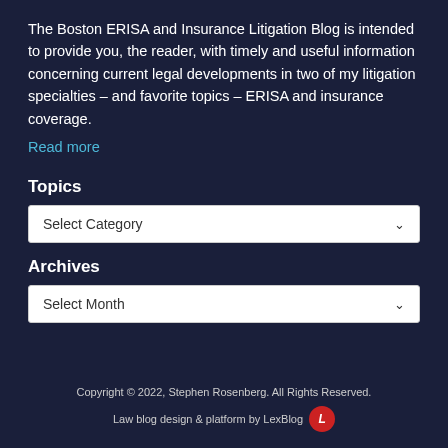The Boston ERISA and Insurance Litigation Blog is intended to provide you, the reader, with timely and useful information concerning current legal developments in two of my litigation specialties – and favorite topics – ERISA and insurance coverage.
Read more
Topics
Select Category
Archives
Select Month
Copyright © 2022, Stephen Rosenberg. All Rights Reserved.
Law blog design & platform by LexBlog